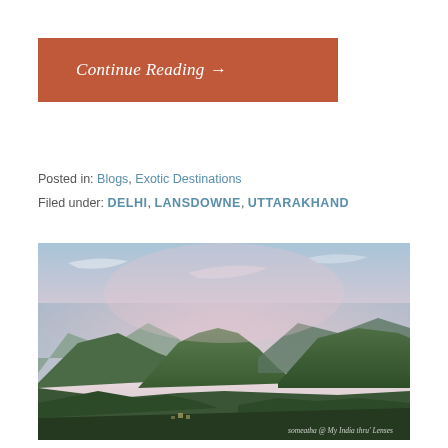Continue Reading →
Posted in: Blogs, Exotic Destinations
Filed under: DELHI, LANSDOWNE, UTTARAKHAND
[Figure (photo): Aerial landscape photograph of green mountain valleys under a hazy pastel sky, with a watermark reading 'someatha @ My India thru' Lenses' in the bottom right corner]